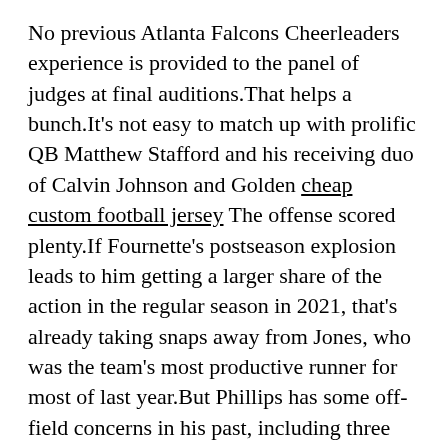No previous Atlanta Falcons Cheerleaders experience is provided to the panel of judges at final auditions.That helps a bunch.It's not easy to match up with prolific QB Matthew Stafford and his receiving duo of Calvin Johnson and Golden cheap custom football jersey The offense scored plenty.If Fournette's postseason explosion leads to him getting a larger share of the action in the regular season in 2021, that's already taking snaps away from Jones, who was the team's most productive runner for most of last year.But Phillips has some off-field concerns in his past, including three concussions that forced him to medically retire for about a year.That's the best average separation the Buccaneers got in any game during the entire 2020 season.
Just remember that all opinions here are mine unless noted otherwise.This year, just playing all 20